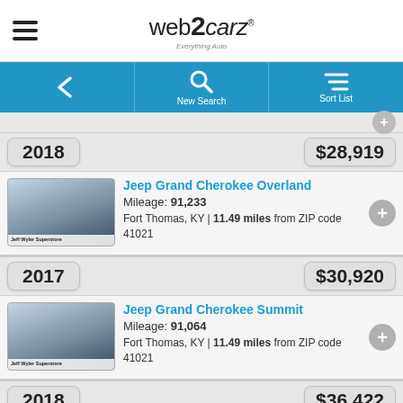web2carz - Everything Auto
New Search | Sort List navigation
2018 | $28,919 | Jeep Grand Cherokee Overland | Mileage: 91,233 | Fort Thomas, KY | 11.49 miles from ZIP code 41021
2017 | $30,920 | Jeep Grand Cherokee Summit | Mileage: 91,064 | Fort Thomas, KY | 11.49 miles from ZIP code 41021
2018 | $36,422 | Jeep Grand Cherokee | Mileage: 32,000